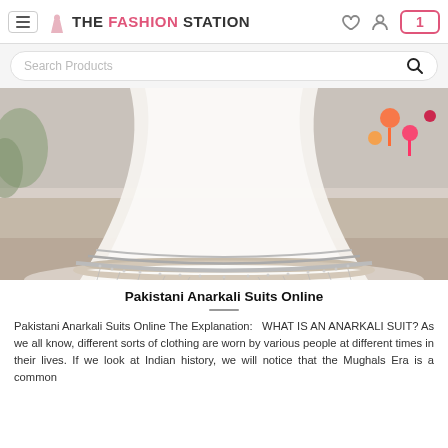THE FASHION STATION
[Figure (photo): Close-up photograph of a white Pakistani Anarkali suit with intricate silver embroidery and beading along the hem, shown in motion outdoors with colorful decorations in the background.]
Pakistani Anarkali Suits Online
Pakistani Anarkali Suits Online The Explanation:   WHAT IS AN ANARKALI SUIT? As we all know, different sorts of clothing are worn by various people at different times in their lives. If we look at Indian history, we will notice that the Mughals Era is a common